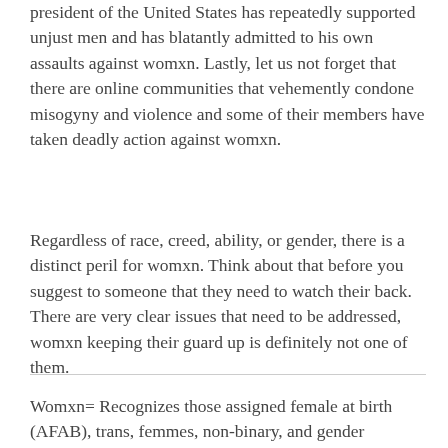president of the United States has repeatedly supported unjust men and has blatantly admitted to his own assaults against womxn. Lastly, let us not forget that there are online communities that vehemently condone misogyny and violence and some of their members have taken deadly action against womxn.
Regardless of race, creed, ability, or gender, there is a distinct peril for womxn. Think about that before you suggest to someone that they need to watch their back. There are very clear issues that need to be addressed, womxn keeping their guard up is definitely not one of them.
Womxn= Recognizes those assigned female at birth (AFAB), trans, femmes, non-binary, and gender